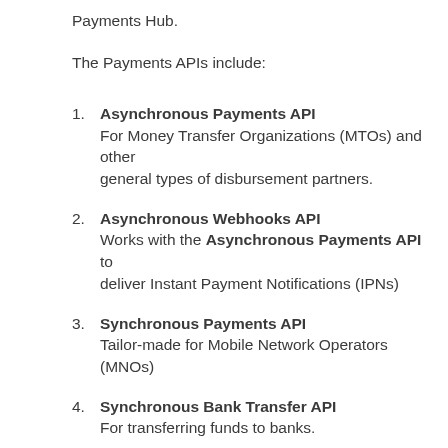Payments Hub.
The Payments APIs include:
1. Asynchronous Payments API — For Money Transfer Organizations (MTOs) and other general types of disbursement partners.
2. Asynchronous Webhooks API — Works with the Asynchronous Payments API to deliver Instant Payment Notifications (IPNs)
3. Synchronous Payments API — Tailor-made for Mobile Network Operators (MNOs)
4. Synchronous Bank Transfer API — For transferring funds to banks.
5. Get Rates API — For programmatic access to MFS Africa's daily forex exchange rates